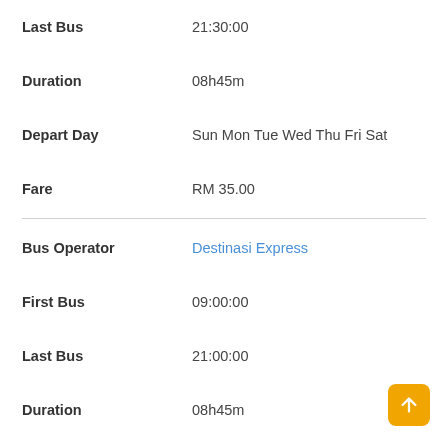| Field | Value |
| --- | --- |
| Last Bus | 21:30:00 |
| Duration | 08h45m |
| Depart Day | Sun Mon Tue Wed Thu Fri Sat |
| Fare | RM 35.00 |
| Bus Operator | Destinasi Express |
| First Bus | 09:00:00 |
| Last Bus | 21:00:00 |
| Duration | 08h45m |
| Depart Day | Sun Mon Tue Wed Thu Fri Sat |
| Fare | RM 40.00 |
| Bus Operator | Naza Express |
| First Bus | 09:00:00 |
| Last Bus | 21:45:00 |
| Duration | 08h45m |
| Depart Day | Sun Mon Tue Wed Thu Fri Sat |